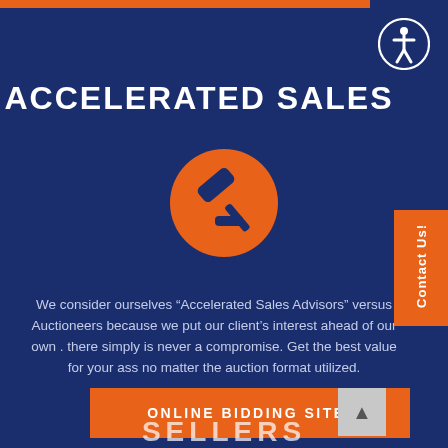[Figure (illustration): Orange horizontal bar at top of page]
[Figure (logo): Accessibility icon - person in circle, white on dark blue, top right corner]
ACCELERATED SALES
[Figure (illustration): Gavel/auction hammer icon in white on orange circle background]
We consider ourselves “Accelerated Sales Advisors” versus Auctioneers because we put our client’s interest ahead of our own . there simply is never a compromise. Get the best value for your ass no matter the auction format utilized.
[Figure (illustration): Contact Us! vertical tab on right side, orange background]
ONLINE BIDDING SITE!
SELLERS